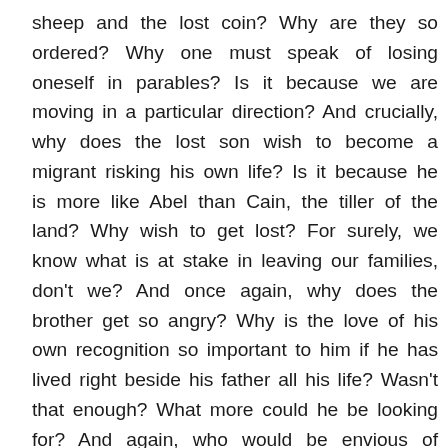sheep and the lost coin? Why are they so ordered? Why one must speak of losing oneself in parables? Is it because we are moving in a particular direction? And crucially, why does the lost son wish to become a migrant risking his own life? Is it because he is more like Abel than Cain, the tiller of the land? Why wish to get lost? For surely, we know what is at stake in leaving our families, don't we? And once again, why does the brother get so angry? Why is the love of his own recognition so important to him if he has lived right beside his father all his life? Wasn't that enough? What more could he be looking for? And again, who would be envious of one's brother's having suffered and despaired in solitude? Which of these two brothers would actually be better prepared to honor his parents, as is our duty according to the 10 Commandments? Would the adequate honoring of one's